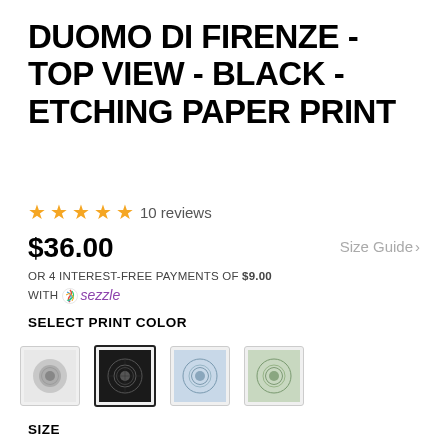DUOMO DI FIRENZE - TOP VIEW - BLACK - ETCHING PAPER PRINT
★★★★★ 10 reviews
$36.00
Size Guide >
OR 4 INTEREST-FREE PAYMENTS OF $9.00 WITH sezzle
SELECT PRINT COLOR
[Figure (other): Four color swatch thumbnails for print color selection: grey/white, black (selected with border), blue-tinted, green-tinted versions of Duomo di Firenze etching]
SIZE